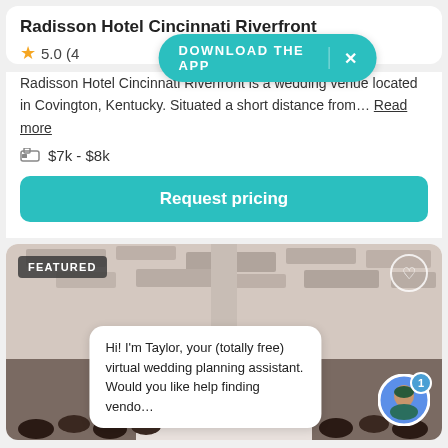Radisson Hotel Cincinnati Riverfront
5.0
Radisson Hotel Cincinnati Riverfront is a wedding venue located in Covington, Kentucky. Situated a short distance from... Read more
$7k - $8k
Request pricing
DOWNLOAD THE APP
[Figure (photo): Interior photo of a wedding venue showing a decorative white ceiling with geometric panels and an audience seated at a ceremony]
FEATURED
Hi! I'm Taylor, your (totally free) virtual wedding planning assistant. Would you like help finding vendo...